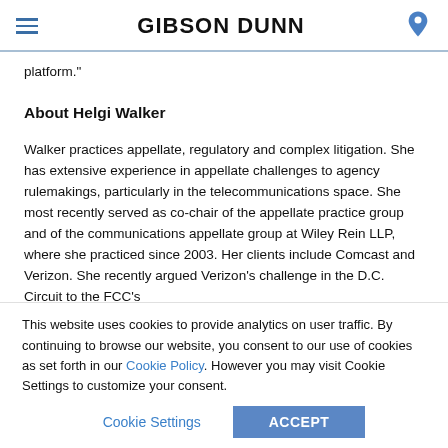GIBSON DUNN
platform."
About Helgi Walker
Walker practices appellate, regulatory and complex litigation. She has extensive experience in appellate challenges to agency rulemakings, particularly in the telecommunications space. She most recently served as co-chair of the appellate practice group and of the communications appellate group at Wiley Rein LLP, where she practiced since 2003. Her clients include Comcast and Verizon. She recently argued Verizon's challenge in the D.C. Circuit to the FCC's
This website uses cookies to provide analytics on user traffic. By continuing to browse our website, you consent to our use of cookies as set forth in our Cookie Policy. However you may visit Cookie Settings to customize your consent.